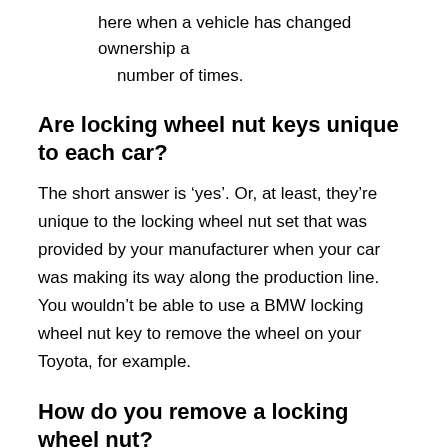here when a vehicle has changed ownership a number of times.
Are locking wheel nut keys unique to each car?
The short answer is ‘yes’. Or, at least, they’re unique to the locking wheel nut set that was provided by your manufacturer when your car was making its way along the production line. You wouldn’t be able to use a BMW locking wheel nut key to remove the wheel on your Toyota, for example.
How do you remove a locking wheel nut?
Unlike a standard wheel nut, which has a regular hexagonal head and can be removed from using an